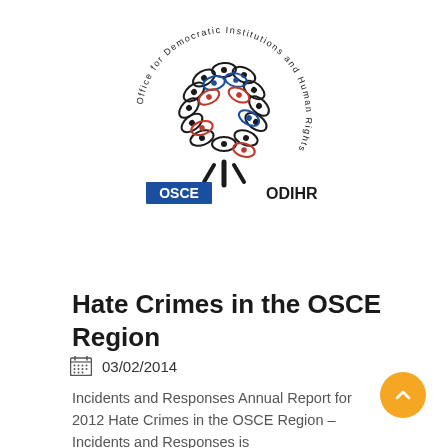[Figure (logo): OSCE ODIHR logo — a stylized tree made of eye-shaped leaves in black, red, and blue, surrounded by circular text reading 'Office for Democratic Institutions and Human Rights'. Below the tree are the 'OSCE' wordmark in a blue rectangle and 'ODIHR' text.]
Hate Crimes in the OSCE Region
03/02/2014
Incidents and Responses Annual Report for 2012 Hate Crimes in the OSCE Region – Incidents and Responses is